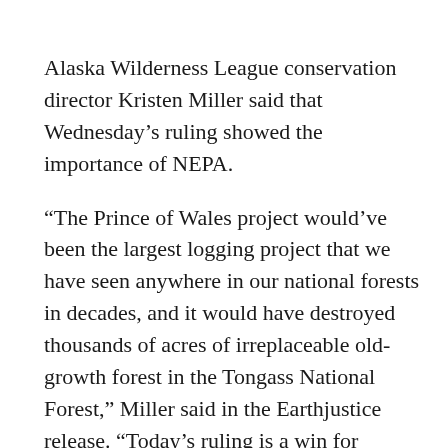Alaska Wilderness League conservation director Kristen Miller said that Wednesday’s ruling showed the importance of NEPA.
“The Prince of Wales project would’ve been the largest logging project that we have seen anywhere in our national forests in decades, and it would have destroyed thousands of acres of irreplaceable old-growth forest in the Tongass National Forest,” Miller said in the Earthjustice release. “Today’s ruling is a win for Southeast Alaska’s billion-dollar fishing and tourism industries, and a reminder as the Trump administration tries to significantly weaken the National Environmental Policy Act of the critical role NEPA plays in allowing the